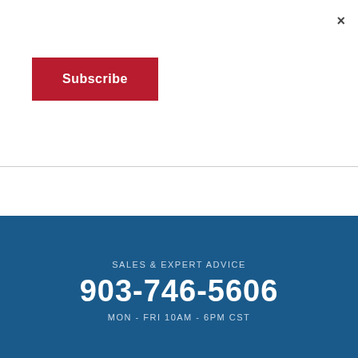×
Subscribe
SALES & EXPERT ADVICE
903-746-5606
MON - FRI 10AM - 6PM CST